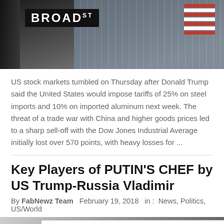[Figure (photo): Street-level photo of Broad Street sign with American flag and building facade in background]
US stock markets tumbled on Thursday after Donald Trump said the United States would impose tariffs of 25% on steel imports and 10% on imported aluminum next week. The threat of a trade war with China and higher goods prices led to a sharp sell-off with the Dow Jones Industrial Average initially lost over 570 points, with heavy losses for ...
Key Players of PUTIN'S CHEF by US Trump-Russia Vladimir
By FabNewz Team   February 19, 2018   in :  News, Politics, US/World
[Figure (photo): News article photo with chat bubble icon overlay and Tally advertisement banner for Fast credit card payoff]